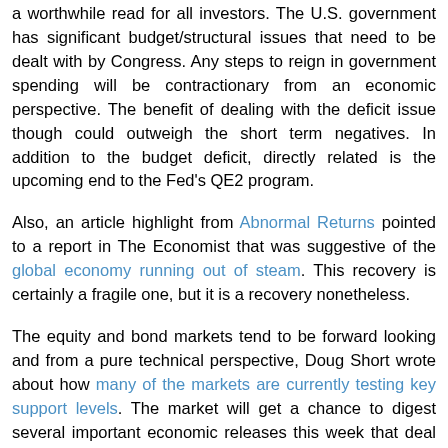a worthwhile read for all investors. The U.S. government has significant budget/structural issues that need to be dealt with by Congress. Any steps to reign in government spending will be contractionary from an economic perspective. The benefit of dealing with the deficit issue though could outweigh the short term negatives. In addition to the budget deficit, directly related is the upcoming end to the Fed's QE2 program.
Also, an article highlight from Abnormal Returns pointed to a report in The Economist that was suggestive of the global economy running out of steam. This recovery is certainly a fragile one, but it is a recovery nonetheless.
The equity and bond markets tend to be forward looking and from a pure technical perspective, Doug Short wrote about how many of the markets are currently testing key support levels. The market will get a chance to digest several important economic releases this week that deal with jobless claims and existing home sales. These support levels are worthwhile factors for investors to watch.
As Winston Churchill once said, "The pessimist sees difficulty in every opportunity. The optimist sees opportunity...